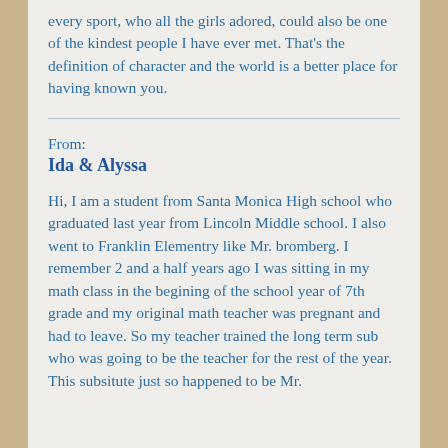every sport, who all the girls adored, could also be one of the kindest people I have ever met. That's the definition of character and the world is a better place for having known you.
From:
Ida & Alyssa
Hi, I am a student from Santa Monica High school who graduated last year from Lincoln Middle school. I also went to Franklin Elementry like Mr. bromberg. I remember 2 and a half years ago I was sitting in my math class in the begining of the school year of 7th grade and my original math teacher was pregnant and had to leave. So my teacher trained the long term sub who was going to be the teacher for the rest of the year. This subsitute just so happened to be Mr.